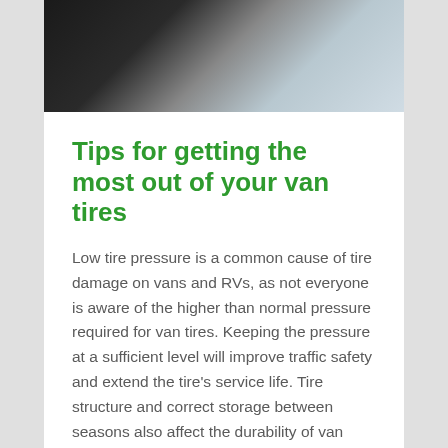[Figure (photo): Close-up photo of a tire on a surface, dark tire rubber visible against a light grey/white background, top portion of the page]
Tips for getting the most out of your van tires
Low tire pressure is a common cause of tire damage on vans and RVs, as not everyone is aware of the higher than normal pressure required for van tires. Keeping the pressure at a sufficient level will improve traffic safety and extend the tire’s service life. Tire structure and correct storage between seasons also affect the durability of van tires.